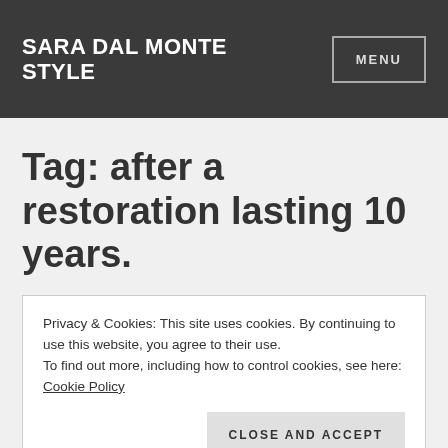SARA DAL MONTE STYLE
Tag: after a restoration lasting 10 years.
Privacy & Cookies: This site uses cookies. By continuing to use this website, you agree to their use.
To find out more, including how to control cookies, see here: Cookie Policy
Close and accept
The Madonna of the